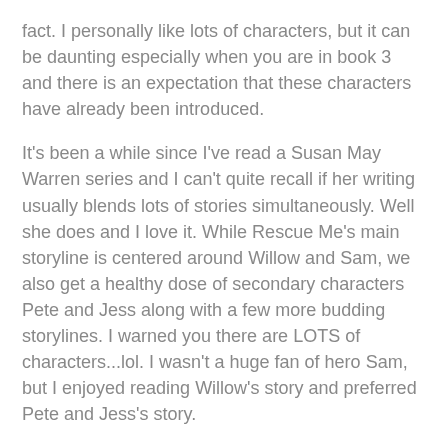fact. I personally like lots of characters, but it can be daunting especially when you are in book 3 and there is an expectation that these characters have already been introduced.
It's been a while since I've read a Susan May Warren series and I can't quite recall if her writing usually blends lots of stories simultaneously. Well she does and I love it. While Rescue Me's main storyline is centered around Willow and Sam, we also get a healthy dose of secondary characters Pete and Jess along with a few more budding storylines. I warned you there are LOTS of characters...lol. I wasn't a huge fan of hero Sam, but I enjoyed reading Willow's story and preferred Pete and Jess's story.
If you've already read the others in the series, storylines from those books have continued into this one (Sierra, Ian & Esme).
The plot moved quickly and I felt as if I was right there in the mountains and woods with the Rescue Team.